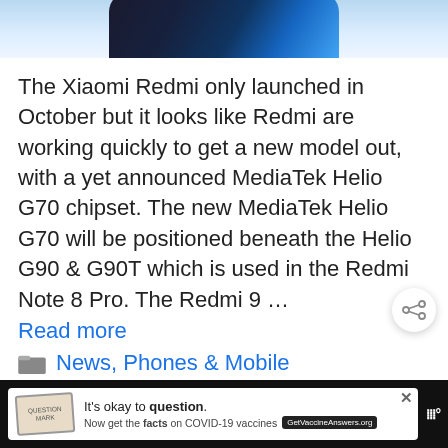[Figure (photo): Top portion of a Xiaomi Redmi smartphone shown against a blue gradient background, cropped at top of page.]
The Xiaomi Redmi only launched in October but it looks like Redmi are working quickly to get a new model out, with a yet announced MediaTek Helio G70 chipset. The new MediaTek Helio G70 will be positioned beneath the Helio G90 & G90T which is used in the Redmi Note 8 Pro. The Redmi 9 …
Read more
News, Phones & Mobile
[Figure (infographic): Advertisement banner: 'It's okay to question. Now get the facts on COVID-19 vaccines. GetVaccineAnswers.org']